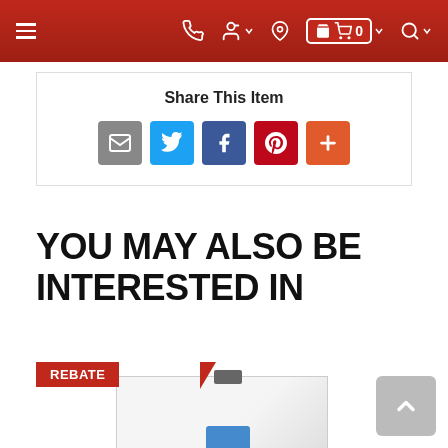Navigation bar with hamburger menu, phone, user, location, cart (0), and search icons
Share This Item
[Figure (other): Social share buttons: email (grey), Twitter (blue), Facebook (dark blue), Pinterest (red), more (orange-red)]
YOU MAY ALSO BE INTERESTED IN
[Figure (other): Product card with red REBATE badge in top-left corner and partial appliance image (white refrigerator or dishwasher)]